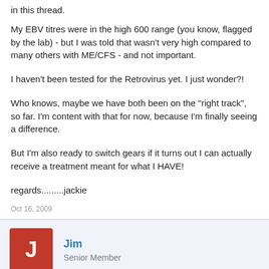in this thread.
My EBV titres were in the high 600 range (you know, flagged by the lab) - but I was told that wasn't very high compared to many others with ME/CFS - and not important.
I haven't been tested for the Retrovirus yet. I just wonder?!
Who knows, maybe we have both been on the "right track", so far. I'm content with that for now, because I'm finally seeing a difference.
But I'm also ready to switch gears if it turns out I can actually receive a treatment meant for what I HAVE!
regards.........jackie
Oct 16, 2009
Jim
Senior Member